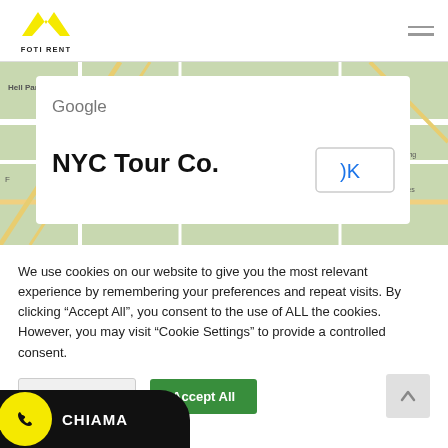[Figure (logo): Foti Rent logo with yellow chevron/arrow graphic and text FOTI RENT below]
[Figure (screenshot): Google Maps screenshot showing NYC map with roads and neighborhood labels like Hell Park, HELL'S KITCHEN, with a white modal card overlay showing Google logo and NYC Tour Co. title with OK button]
We use cookies on our website to give you the most relevant experience by remembering your preferences and repeat visits. By clicking “Accept All”, you consent to the use of ALL the cookies. However, you may visit “Cookie Settings” to provide a controlled consent.
[Figure (other): Cookie Settings button (grey) and Accept All button (green) and scroll-to-top arrow button]
[Figure (other): CHIAMA button with WhatsApp phone icon in yellow circle on black background]